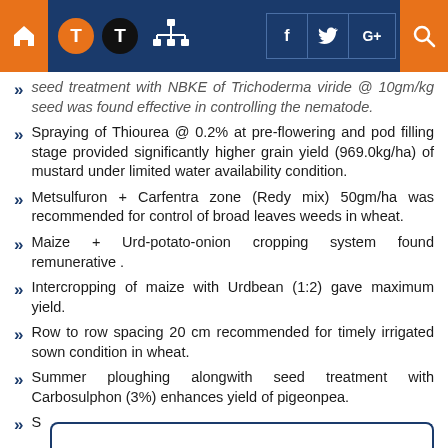Navigation bar with home, T icons, network icon, social media buttons (Facebook, Twitter, Google+), and search
seed treatment with NBKE of Trichoderma viride @ 10gm/kg seed was found effective in controlling the nematode.
Spraying of Thiourea @ 0.2% at pre-flowering and pod filling stage provided significantly higher grain yield (969.0kg/ha) of mustard under limited water availability condition.
Metsulfuron + Carfentra zone (Redy mix) 50gm/ha was recommended for control of broad leaves weeds in wheat.
Maize + Urd-potato-onion cropping system found remunerative .
Intercropping of maize with Urdbean (1:2) gave maximum yield.
Row to row spacing 20 cm recommended for timely irrigated sown condition in wheat.
Summer ploughing alongwith seed treatment with Carbosulphon (3%) enhances yield of pigeonpea.
S